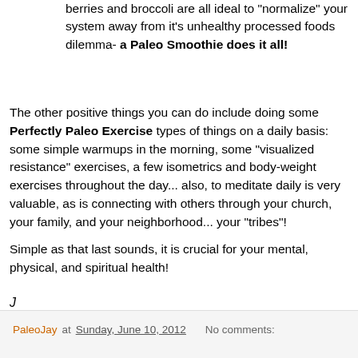berries and broccoli are all ideal to "normalize" your system away from it's unhealthy processed foods dilemma- a Paleo Smoothie does it all!
The other positive things you can do include doing some Perfectly Paleo Exercise types of things on a daily basis: some simple warmups in the morning, some "visualized resistance" exercises, a few isometrics and body-weight exercises throughout the day... also, to meditate daily is very valuable, as is connecting with others through your church, your family, and your neighborhood... your "tribes"!
Simple as that last sounds, it is crucial for your mental, physical, and spiritual health!
J
PaleoJay at Sunday, June 10, 2012   No comments: